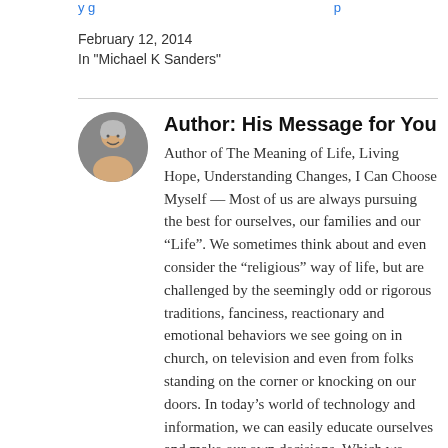y g ... p
February 12, 2014
In "Michael K Sanders"
Author: His Message for You
Author of The Meaning of Life, Living Hope, Understanding Changes, I Can Choose Myself -- Most of us are always pursuing the best for ourselves, our families and our “Life”. We sometimes think about and even consider the “religious” way of life, but are challenged by the seemingly odd or rigorous traditions, fanciness, reactionary and emotional behaviors we see going on in church, on television and even from folks standing on the corner or knocking on our doors. In today’s world of technology and information, we can easily educate ourselves and make our own decisions. Which we enjoy, and we should! If you are thinking about how religion, or in an easier term to understand, a